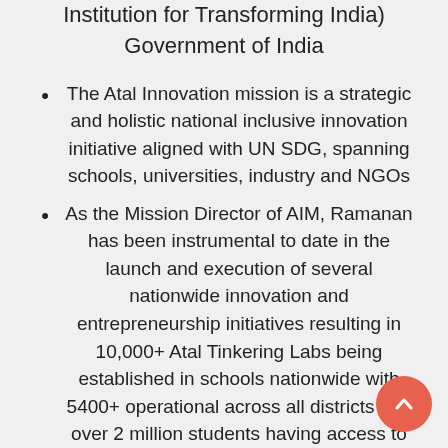Institution for Transforming India) Government of India
The Atal Innovation mission is a strategic and holistic national inclusive innovation initiative aligned with UN SDG, spanning schools, universities, industry and NGOs
As the Mission Director of AIM, Ramanan has been instrumental to date in the launch and execution of several nationwide innovation and entrepreneurship initiatives resulting in 10,000+ Atal Tinkering Labs being established in schools nationwide with 5400+ operational across all districts and over 2 million students having access to innovative tools and technologies like 3D printers, robotics, miniaturized electronics do